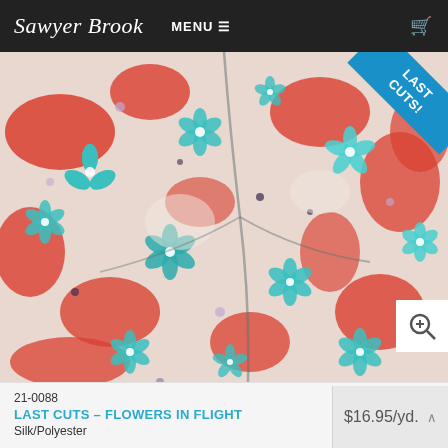Sawyer Brook   MENU ≡   🛒
[Figure (photo): Close-up photograph of a silk/polyester fabric with a floral print featuring red, teal/turquoise, and white flowers on a light background, with a LAST CUTS! diagonal banner in the top-right corner.]
21-0088
LAST CUTS – FLOWERS IN FLIGHT
Silk/Polyester
$16.95/yd.